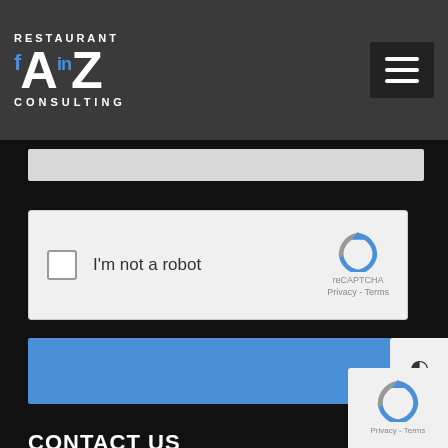[Figure (logo): Restaurant A2Z Consulting logo with social media icons on dark grey header bar]
[Figure (screenshot): reCAPTCHA widget with checkbox 'I'm not a robot' and reCAPTCHA logo with Privacy - Terms text]
[Figure (screenshot): Blue Submit button]
CONTACT US
550 Northern Blvd
Great Neck NY 10021
[Figure (screenshot): reCAPTCHA privacy badge bottom right corner]